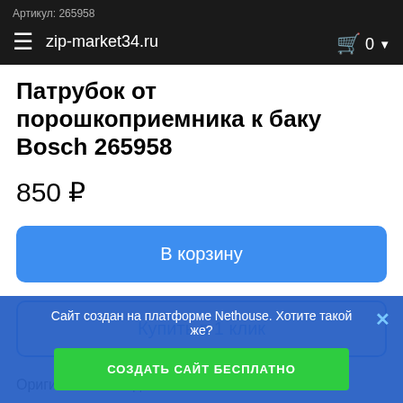Артикул: 265958   zip-market34.ru   🛒 0
Патрубок от порошкоприемника к баку Bosch 265958
850 ₽
В корзину
Купить в 1 клик
Оригинальный код: 00265958
Сайт создан на платформе Nethouse. Хотите такой же?
СОЗДАТЬ САЙТ БЕСПЛАТНО